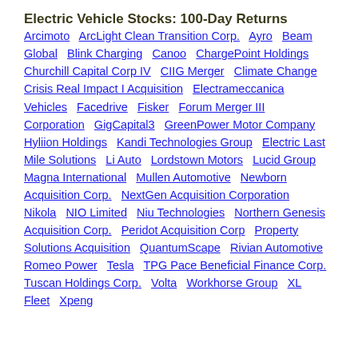Electric Vehicle Stocks: 100-Day Returns
Arcimoto  ArcLight Clean Transition Corp.  Ayro  Beam Global  Blink Charging  Canoo  ChargePoint Holdings  Churchill Capital Corp IV  CIIG Merger  Climate Change Crisis Real Impact I Acquisition  Electrameccanica Vehicles  Facedrive  Fisker  Forum Merger III Corporation  GigCapital3  GreenPower Motor Company  Hyliion Holdings  Kandi Technologies Group  Electric Last Mile Solutions  Li Auto  Lordstown Motors  Lucid Group  Magna International  Mullen Automotive  Newborn Acquisition Corp.  NextGen Acquisition Corporation  Nikola  NIO Limited  Niu Technologies  Northern Genesis Acquisition Corp.  Peridot Acquisition Corp  Property Solutions Acquisition  QuantumScape  Rivian Automotive  Romeo Power  Tesla  TPG Pace Beneficial Finance Corp.  Tuscan Holdings Corp.  Volta  Workhorse Group  XL Fleet  Xpeng